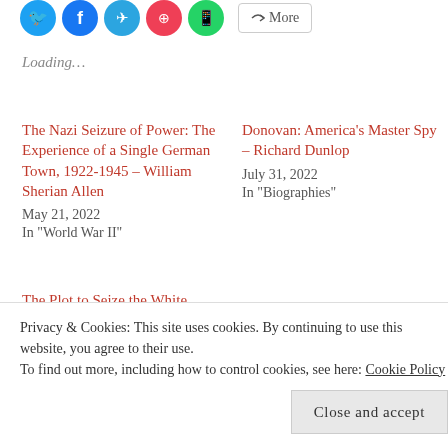[Figure (other): Social share icons: Twitter (blue), Facebook (blue), Telegram (blue), Pocket (red), WhatsApp (green), and a More button]
Loading…
The Nazi Seizure of Power: The Experience of a Single German Town, 1922-1945 – William Sherian Allen
May 21, 2022
In "World War II"
Donovan: America's Master Spy – Richard Dunlop
July 31, 2022
In "Biographies"
The Plot to Seize the White House: The Shocking True...
Privacy & Cookies: This site uses cookies. By continuing to use this website, you agree to their use.
To find out more, including how to control cookies, see here: Cookie Policy
Close and accept